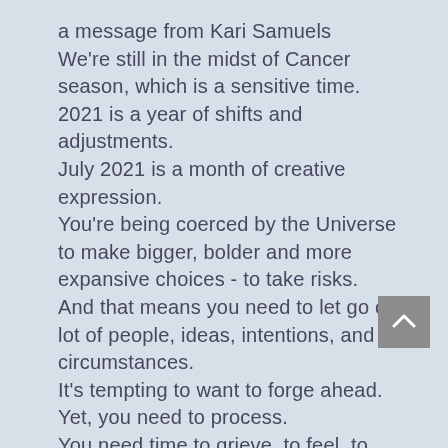a message from Kari Samuels
We're still in the midst of Cancer season, which is a sensitive time.
2021 is a year of shifts and adjustments.
July 2021 is a month of creative expression.
You're being coerced by the Universe to make bigger, bolder and more expansive choices - to take risks.
And that means you need to let go of a lot of people, ideas, intentions, and circumstances.
It's tempting to want to forge ahead.
Yet, you need to process.
You need time to grieve, to feel, to release, and ultimately plant for your fantastic future.
There's a lot going on inside of you.
Make sure you take that into consideration